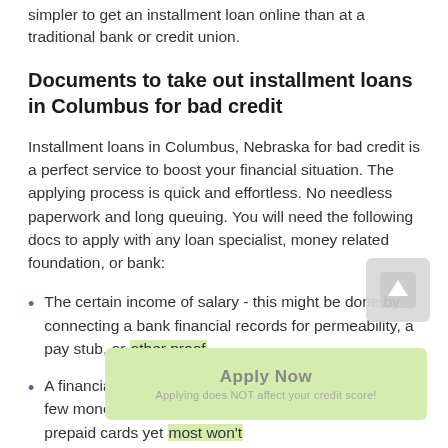simpler to get an installment loan online than at a traditional bank or credit union.
Documents to take out installment loans in Columbus for bad credit
Installment loans in Columbus, Nebraska for bad credit is a perfect service to boost your financial situation. The applying process is quick and effortless. No needless paperwork and long queuing. You will need the following docs to apply with any loan specialist, money related foundation, or bank:
The certain income of salary - this might be done by connecting a bank financial records for permeability, a pay stub, or other proof
A financial balance or a comparative other option - a few moneylenders will permit computerized ledgers or prepaid cards yet most won't